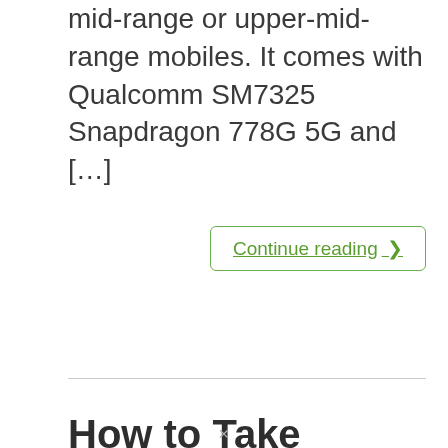mid-range or upper-mid-range mobiles. It comes with Qualcomm SM7325 Snapdragon 778G 5G and […]
Continue reading ❯
How to Take Screenshot in Samsung Galaxy F62 SM-E625F?